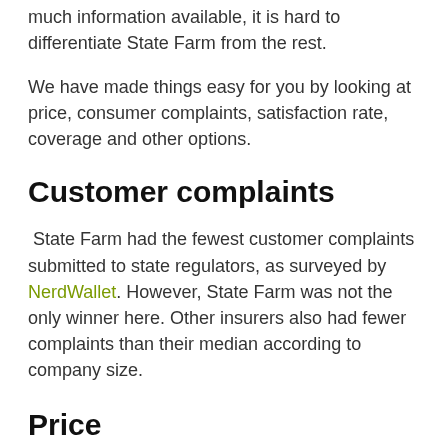much information available, it is hard to differentiate State Farm from the rest.
We have made things easy for you by looking at price, consumer complaints, satisfaction rate, coverage and other options.
Customer complaints
State Farm had the fewest customer complaints submitted to state regulators, as surveyed by NerdWallet. However, State Farm was not the only winner here. Other insurers also had fewer complaints than their median according to company size.
Price